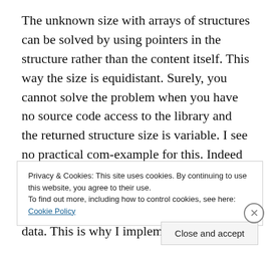The unknown size with arrays of structures can be solved by using pointers in the structure rather than the content itself. This way the size is equidistant. Surely, you cannot solve the problem when you have no source code access to the library and the returned structure size is variable. I see no practical com-example for this. Indeed all programmers of all languages would face the same problem here. C++ does not tell you the size, because there is no meta-data. This is why I implemented a
Privacy & Cookies: This site uses cookies. By continuing to use this website, you agree to their use.
To find out more, including how to control cookies, see here: Cookie Policy
Close and accept